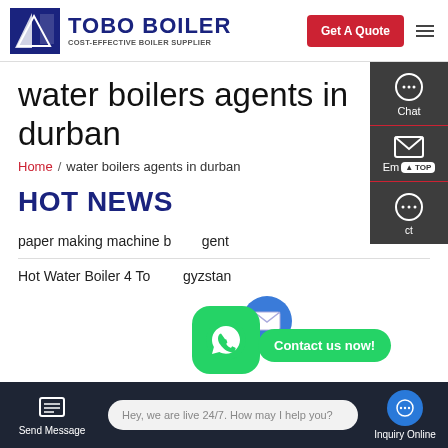TOBO BOILER — COST-EFFECTIVE BOILER SUPPLIER | Get A Quote
water boilers agents in durban
Home / water boilers agents in durban
HOT NEWS
paper making machine boiler agent
Hot Water Boiler 4 Ton Kyrgyzstan